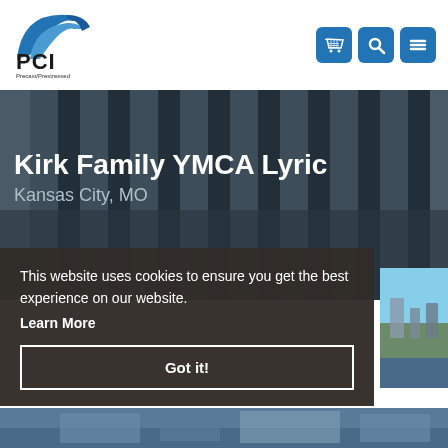[Figure (logo): PCI Precast/Prestressed Concrete Institute logo with blue arc graphic]
[Figure (screenshot): Navigation icons: shopping cart, search, and hamburger menu in blue rounded square buttons]
[Figure (photo): Dark background photo of a concrete building facade with vertical precast panels]
Kirk Family YMCA Lyric
Kansas City, MO
This website uses cookies to ensure you get the best experience on our website.
Learn More
Got it!
[Figure (photo): Partial bottom strip showing street-level view of buildings]